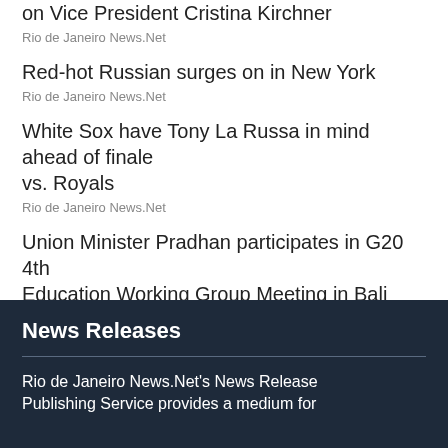on Vice President Cristina Kirchner
Rio de Janeiro News.Net
Red-hot Russian surges on in New York
Rio de Janeiro News.Net
White Sox have Tony La Russa in mind ahead of finale vs. Royals
Rio de Janeiro News.Net
Union Minister Pradhan participates in G20 4th Education Working Group Meeting in Bali
Rio de Janeiro News.Net
MLB roundup: Shohei Ohtani's 30th homer beats Yanks
Rio de Janeiro News.Net
News Releases
Rio de Janeiro News.Net's News Release Publishing Service provides a medium for